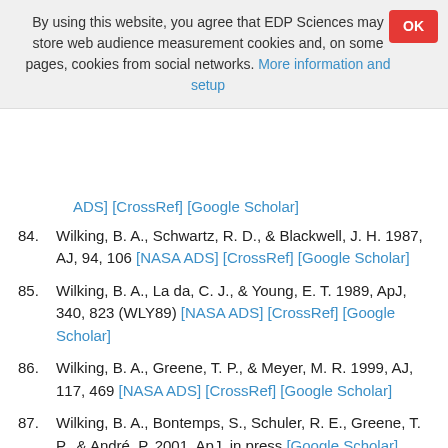By using this website, you agree that EDP Sciences may store web audience measurement cookies and, on some pages, cookies from social networks. More information and setup
84. Wilking, B. A., Schwartz, R. D., & Blackwell, J. H. 1987, AJ, 94, 106 [NASA ADS] [CrossRef] [Google Scholar]
85. Wilking, B. A., La da, C. J., & Young, E. T. 1989, ApJ, 340, 823 (WLY89) [NASA ADS] [CrossRef] [Google Scholar]
86. Wilking, B. A., Greene, T. P., & Meyer, M. R. 1999, AJ, 117, 469 [NASA ADS] [CrossRef] [Google Scholar]
87. Wilking, B. A., Bontemps, S., Schuler, R. E., Greene, T. P., & André, P. 2001, ApJ, in press [Google Scholar]
88. Williams, D. M., Comerón, F., Rieke, G. H., & Rieke, M. J. 1995, ApJ, 454, 144 [NASA ADS] [CrossRef] [Google Scholar]